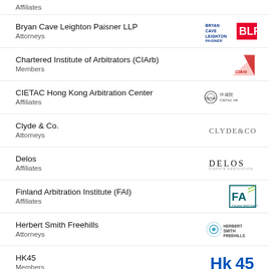Affiliates
Bryan Cave Leighton Paisner LLP
Attorneys
Chartered Institute of Arbitrators (CIArb)
Members
CIETAC Hong Kong Arbitration Center
Affiliates
Clyde & Co.
Attorneys
Delos
Affiliates
Finland Arbitration Institute (FAI)
Affiliates
Herbert Smith Freehills
Attorneys
HK45
Members
ICC Young Arbitrators Forum (YAF)
Members